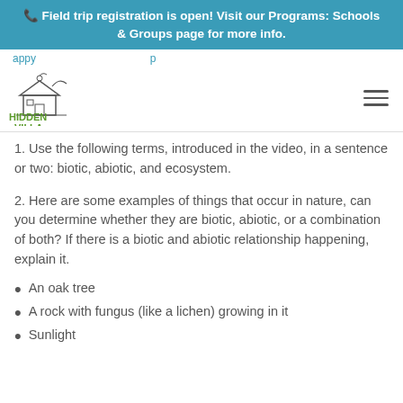Field trip registration is open! Visit our Programs: Schools & Groups page for more info.
appy ... [partial text visible]
[Figure (logo): Hidden Villa logo with barn illustration and green text reading HIDDEN VILLA]
1. Use the following terms, introduced in the video, in a sentence or two: biotic, abiotic, and ecosystem.
2. Here are some examples of things that occur in nature, can you determine whether they are biotic, abiotic, or a combination of both? If there is a biotic and abiotic relationship happening, explain it.
An oak tree
A rock with fungus (like a lichen) growing in it
Sunlight